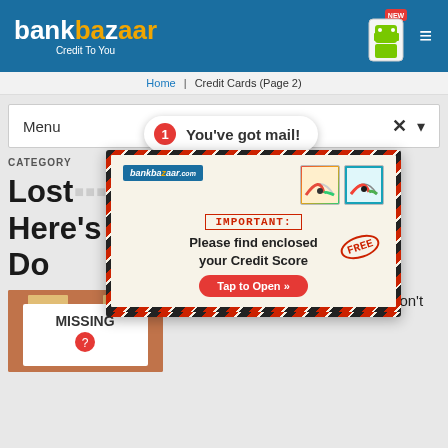bankbazaar Credit To You
Home | Credit Cards (Page 2)
Menu
[Figure (screenshot): BankBazaar promotional mail popup with 'You've got mail!' notification bubble, showing a mail-styled advertisement: IMPORTANT: Please find enclosed your Credit Score. Tap to Open button.]
CATEGORY
Lost your Credit Card? Here's What You Can Do
Have you lost your Credit Card? Don't